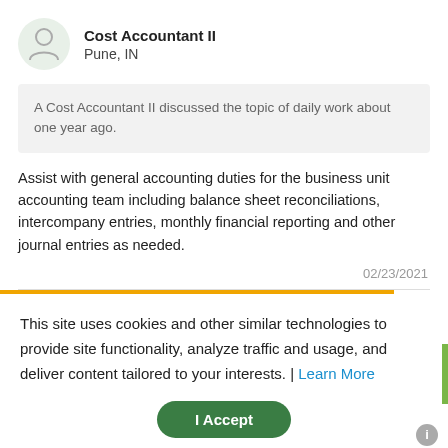Cost Accountant II
Pune, IN
A Cost Accountant II discussed the topic of daily work about one year ago.
Assist with general accounting duties for the business unit accounting team including balance sheet reconciliations, intercompany entries, monthly financial reporting and other journal entries as needed.
02/23/2021
This site uses cookies and other similar technologies to provide site functionality, analyze traffic and usage, and deliver content tailored to your interests. | Learn More
I Accept